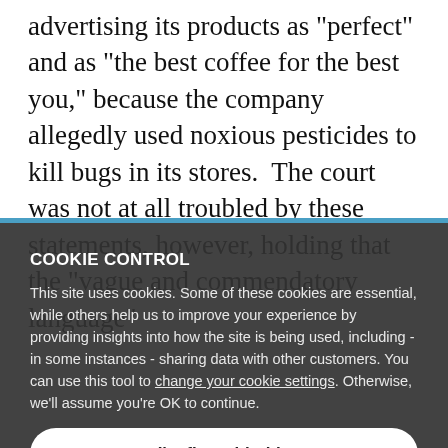advertising its products as "perfect" and as "the best coffee for the best you," because the company allegedly used noxious pesticides to kill bugs in its stores.  The court was not at all troubled by these statements, however, holding that the "vague and commendatory language"
that Starbucks used was simply puffery.  The court found there is no danger of consumer deception because the plaintiff and others like him understood that Starbucks communicates that the company is providing
COOKIE CONTROL
This site uses cookies. Some of these cookies are essential, while others help us to improve your experience by providing insights into how the site is being used, including - in some instances - sharing data with other customers. You can use this tool to change your cookie settings. Otherwise, we'll assume you're OK to continue.
I'm fine with this
ingredients.  The court didn't buy this argument either, however, holding that; "A claim that a seller's wares are 'premium' or 'the best' cannot
More details